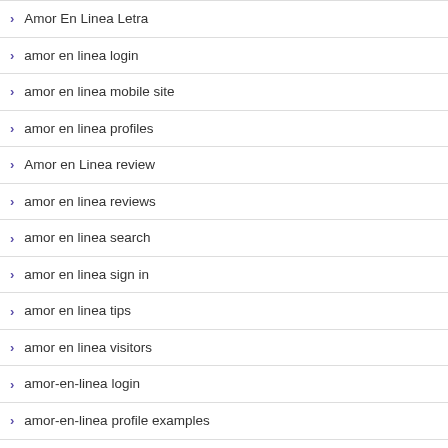Amor En Linea Letra
amor en linea login
amor en linea mobile site
amor en linea profiles
Amor en Linea review
amor en linea reviews
amor en linea search
amor en linea sign in
amor en linea tips
amor en linea visitors
amor-en-linea login
amor-en-linea profile examples
amor-en-linea promo code
amor-en-linea quizzes